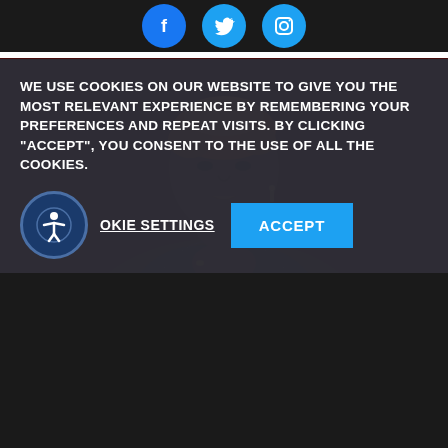Social media icons: Facebook, Twitter, Instagram
[Figure (photo): Portrait photo of a young Black woman with short natural orange-tinted hair, wearing earrings, looking over her shoulder with hands clasped, against a dark red curtain background]
WE USE COOKIES ON OUR WEBSITE TO GIVE YOU THE MOST RELEVANT EXPERIENCE BY REMEMBERING YOUR PREFERENCES AND REPEAT VISITS. BY CLICKING “ACCEPT”, YOU CONSENT TO THE USE OF ALL THE COOKIES.
COOKIE SETTINGS   ACCEPT